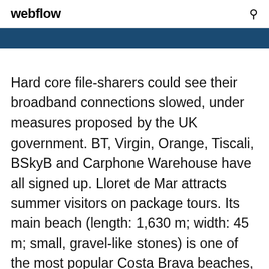webflow
Hard core file-sharers could see their broadband connections slowed, under measures proposed by the UK government. BT, Virgin, Orange, Tiscali, BSkyB and Carphone Warehouse have all signed up. Lloret de Mar attracts summer visitors on package tours. Its main beach (length: 1,630 m; width: 45 m; small, gravel-like stones) is one of the most popular Costa Brava beaches,[citation needed] and is consistently